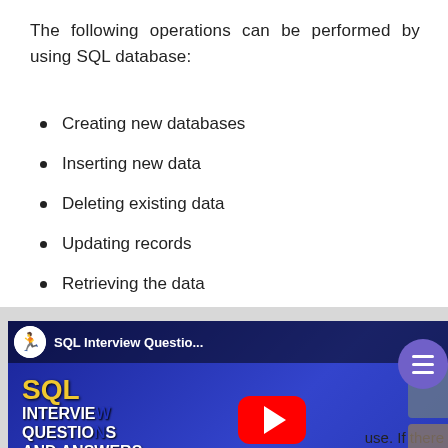The following operations can be performed by using SQL database:
Creating new databases
Inserting new data
Deleting existing data
Updating records
Retrieving the data
Creating and dropping tables
[Figure (screenshot): YouTube video thumbnail overlay showing 'SQL Interview Questio...' video with play button, SQL Interview Questions and Answers text in blue background, with a close X button and a purple hamburger menu button on the right side. Partial text 'use. If there' visible at bottom right.]